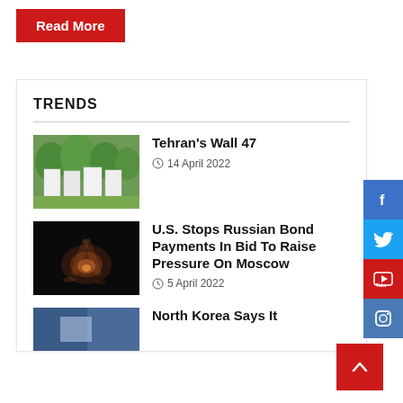Read More
TRENDS
[Figure (photo): Outdoor scene with white sheets or canvases hanging between trees in a park-like setting]
Tehran's Wall 47
14 April 2022
[Figure (photo): Dark image with glowing light on what appears to be a figure or object on the ground]
U.S. Stops Russian Bond Payments In Bid To Raise Pressure On Moscow
5 April 2022
[Figure (photo): Partial thumbnail showing the beginning of a North Korea news story]
North Korea Says It